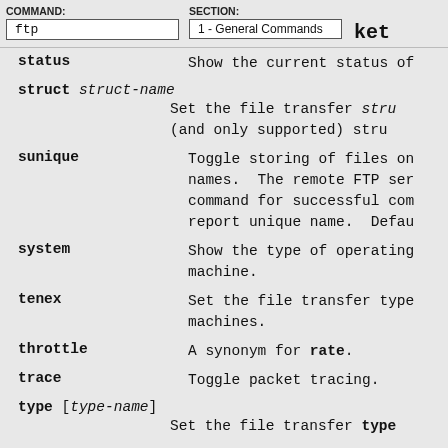COMMAND: ftp   SECTION: 1 - General Commands   ket
status   Show the current status of
struct struct-name
    Set the file transfer stru
    (and only supported) stru
sunique   Toggle storing of files on names. The remote FTP ser command for successful com report unique name. Defau
system   Show the type of operating machine.
tenex   Set the file transfer type machines.
throttle   A synonym for rate.
trace   Toggle packet tracing.
type [type-name]
   Set the file transfer type